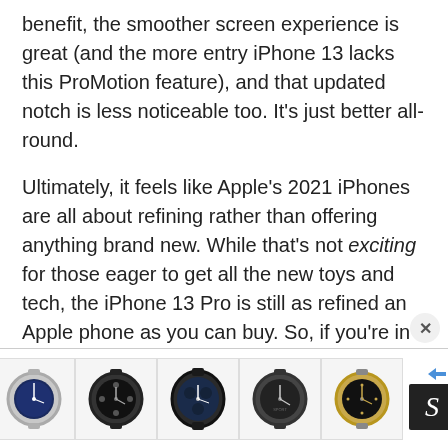benefit, the smoother screen experience is great (and the more entry iPhone 13 lacks this ProMotion feature), and that updated notch is less noticeable too. It's just better all-round.
Ultimately, it feels like Apple's 2021 iPhones are all about refining rather than offering anything brand new. While that's not exciting for those eager to get all the new toys and tech, the iPhone 13 Pro is still as refined an Apple phone as you can buy. So, if you're in the market for an upgrade from an older generation, it'll feel genuinely impressive.
[Figure (other): Advertisement banner showing five luxury watches side by side with an 'S' logo box and arrow/X controls]